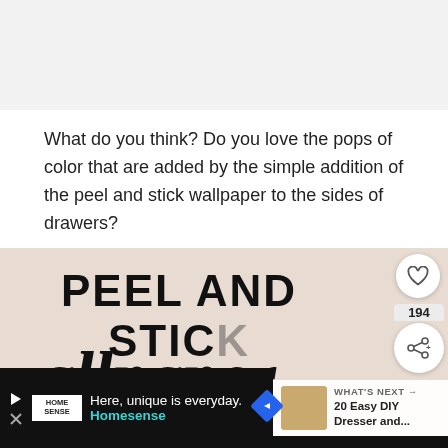[Figure (illustration): Gray placeholder banner at top of page]
What do you think? Do you love the pops of color that are added by the simple addition of the peel and stick wallpaper to the sides of drawers?
[Figure (photo): Promotional graphic for Peel and Stick wallpaper with large bold text reading 'PEEL AND STICK' and cursive 'wallpaper'. Overlaid with a heart icon button, share button showing 194, a 'What's Next' thumbnail panel for '20 Easy DIY Dresser and...', and a bottom logo bar with 'M°' branding.]
[Figure (other): Advertisement bar at bottom: Homesense logo, 'Here, unique is everyday.' tagline, Homesense brand name in teal, blue diamond navigation icon.]